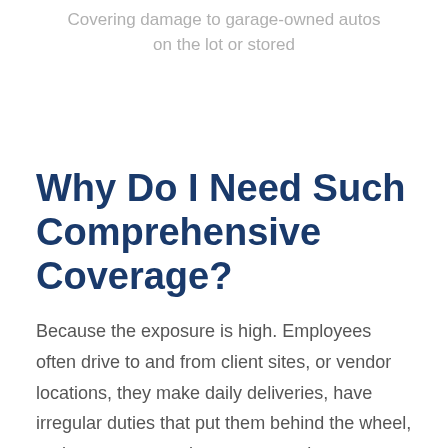Covering damage to garage-owned autos on the lot or stored
Why Do I Need Such Comprehensive Coverage?
Because the exposure is high. Employees often drive to and from client sites, or vendor locations, they make daily deliveries, have irregular duties that put them behind the wheel, and may run errands as requested.